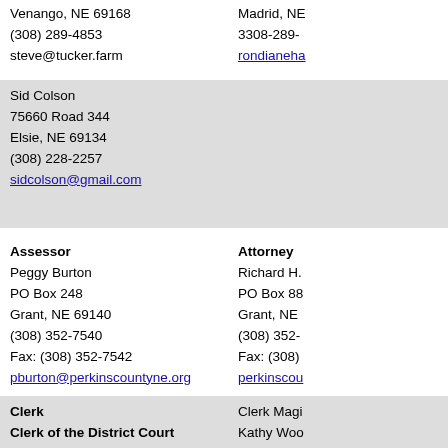Venango, NE 69168
(308) 289-4853
steve@tucker.farm
Madrid, NE
3308-289-
rondianeha
Sid Colson
75660 Road 344
Elsie, NE 69134
(308) 228-2257
sidcolson@gmail.com
Assessor
Peggy Burton
PO Box 248
Grant, NE 69140
(308) 352-7540
Fax: (308) 352-7542
pburton@perkinscountyne.org
Attorney
Richard H.
PO Box 88
Grant, NE
(308) 352-
Fax: (308)
perkinscou
Clerk
Clerk of the District Court
Election Commissioner
Register of Deeds
Rita A. Long
PO Box 156
Grant, NE 69140
(308) 352-7560
Clerk Magi
Kathy Woo
200 Lincol
PO Box 22
Grant, NE
(308) 352-
Fax: (308)
kathy...